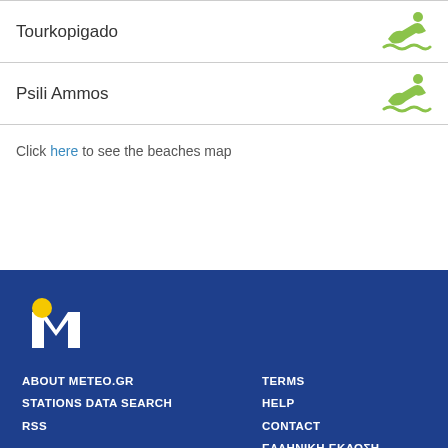Tourkopigado
Psili Ammos
Click here to see the beaches map
[Figure (logo): Meteo.gr logo — yellow circle with white M letter on dark blue background]
ABOUT METEO.GR | STATIONS DATA SEARCH | RSS | TERMS | HELP | CONTACT | ΕΛΛΗΝΙΚΗ ΕΚΔΟΣΗ